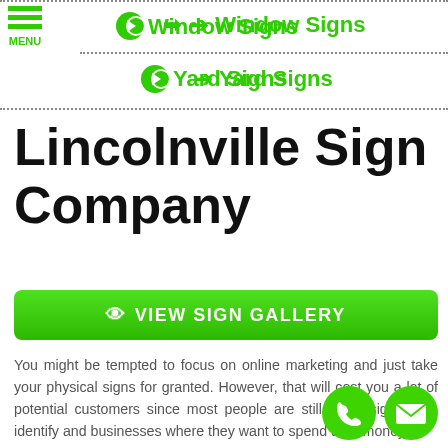Window Signs
Yard Signs
Lincolnville Sign Company
VIEW SIGN GALLERY
You might be tempted to focus on online marketing and just take your physical signs for granted. However, that will cost you a lot of potential customers since most people are still using signage to identify and businesses where they want to spend their money.